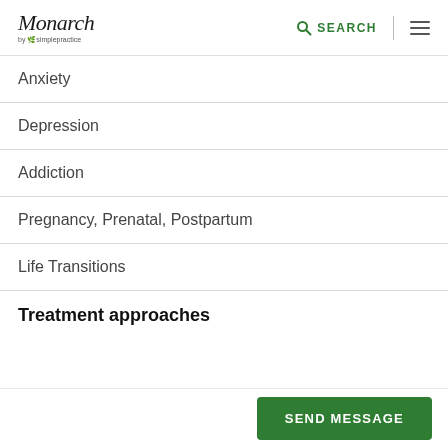Monarch by SimplePractice — SEARCH
Anxiety
Depression
Addiction
Pregnancy, Prenatal, Postpartum
Life Transitions
Treatment approaches